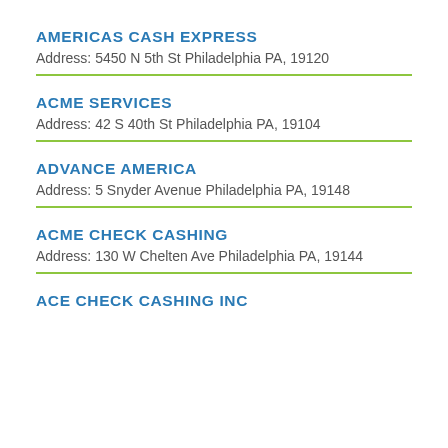AMERICAS CASH EXPRESS
Address: 5450 N 5th St Philadelphia PA, 19120
ACME SERVICES
Address: 42 S 40th St Philadelphia PA, 19104
ADVANCE AMERICA
Address: 5 Snyder Avenue Philadelphia PA, 19148
ACME CHECK CASHING
Address: 130 W Chelten Ave Philadelphia PA, 19144
ACE CHECK CASHING INC